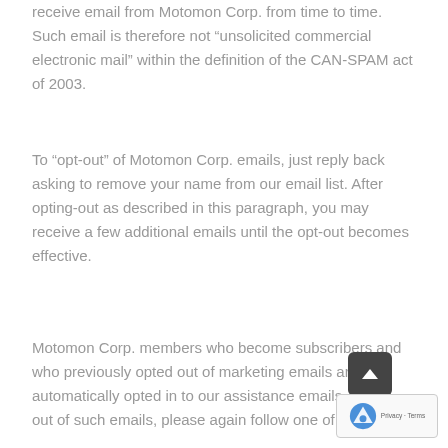receive email from Motomon Corp. from time to time. Such email is therefore not “unsolicited commercial electronic mail” within the definition of the CAN-SPAM act of 2003.
To “opt-out” of Motomon Corp. emails, just reply back asking to remove your name from our email list. After opting-out as described in this paragraph, you may receive a few additional emails until the opt-out becomes effective.
Motomon Corp. members who become subscribers and who previously opted out of marketing emails are automatically opted in to our assistance emails. To opt out of such emails, please again follow one of the